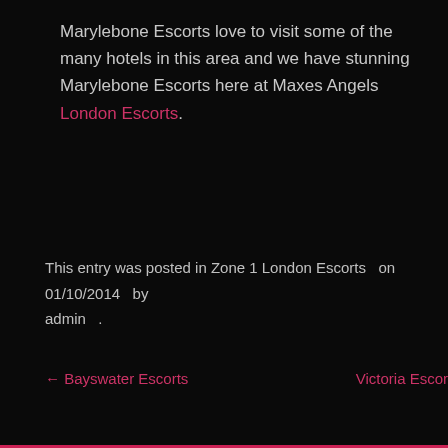Marylebone Escorts love to visit some of the many hotels in this area and we have stunning Marylebone Escorts here at Maxes Angels London Escorts.
This entry was posted in Zone 1 London Escorts   on 01/10/2014  by admin  .
← Bayswater Escorts    Victoria Escor...
You must be logged in to post a comment.